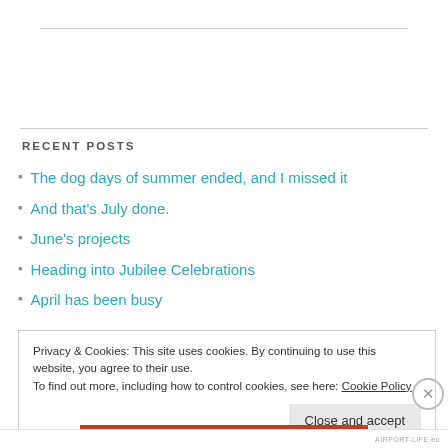RECENT POSTS
The dog days of summer ended, and I missed it
And that's July done.
June's projects
Heading into Jubilee Celebrations
April has been busy
Privacy & Cookies: This site uses cookies. By continuing to use this website, you agree to their use.
To find out more, including how to control cookies, see here: Cookie Policy
Close and accept